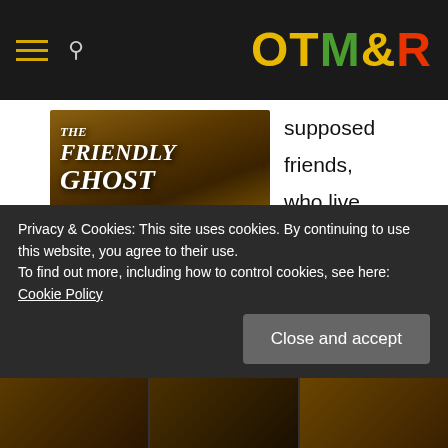OTM&R
[Figure (photo): Title card from 'The Friendly Ghost' animation, showing stylized white cursive text on a brown/golden background]
supposed friends, who live to get up at night and scare
people. Casper decides to leave and make some new friends, but finds out it's a little hard to make friends as a ghost. The only friends to children. This is the first
Privacy & Cookies: This site uses cookies. By continuing to use this website, you agree to their use.
To find out more, including how to control cookies, see here: Cookie Policy
Close and accept